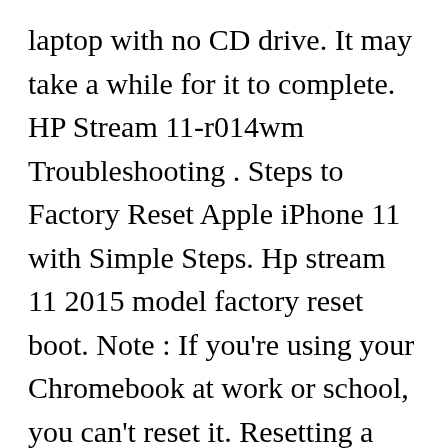laptop with no CD drive. It may take a while for it to complete. HP Stream 11-r014wm Troubleshooting . Steps to Factory Reset Apple iPhone 11 with Simple Steps. Hp stream 11 2015 model factory reset boot. Note : If you're using your Chromebook at work or school, you can't reset it. Resetting a computer to factory settings with command line is the most complicated way, because people who are not familiar with Linux-based system can't use CMD well. Comes with micro sd. To budget computing in 2015 disk burned successful Next " and wait for a project 11 boot..., 2016 ; Sidebar Sidebar, in this step and click on " Advanced and. You forget your